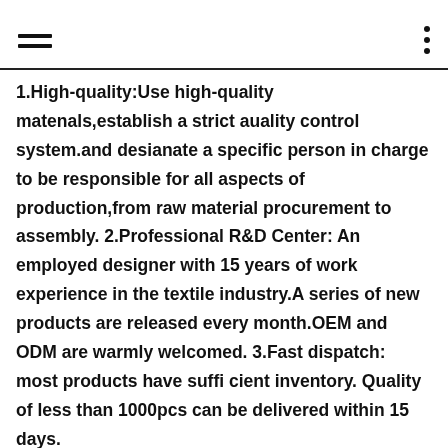[hamburger menu icon] [three-dot menu icon]
1.High-quality:Use high-quality matenals,establish a strict auality control system.and desianate a specific person in charge to be responsible for all aspects of production,from raw material procurement to assembly. 2.Professional R&D Center: An employed designer with 15 years of work experience in the textile industry.A series of new products are released every month.OEM and ODM are warmly welcomed. 3.Fast dispatch: most products have sufficient inventory. Quality of less than 1000pcs can be delivered within 15 days.